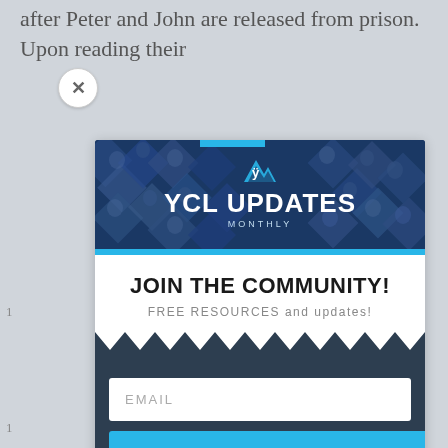after Peter and John are released from prison. Upon reading their
[Figure (screenshot): Modal popup with YCL Updates Monthly banner showing group photo collage on dark blue background with cyan accent bar]
JOIN THE COMMUNITY!
FREE RESOURCES and updates!
EMAIL
SUBSCRIBE!